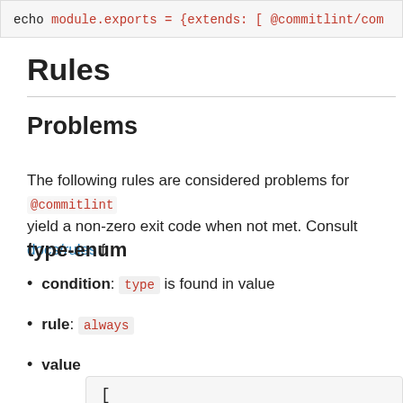[Figure (screenshot): Code snippet showing: echo 'module.exports = {extends: [ @commitlint/com...']
Rules
Problems
The following rules are considered problems for @commitlint/... yield a non-zero exit code when not met. Consult docs/rules f...
type-enum
condition: type is found in value
rule: always
value
[Figure (screenshot): Code box showing opening bracket []